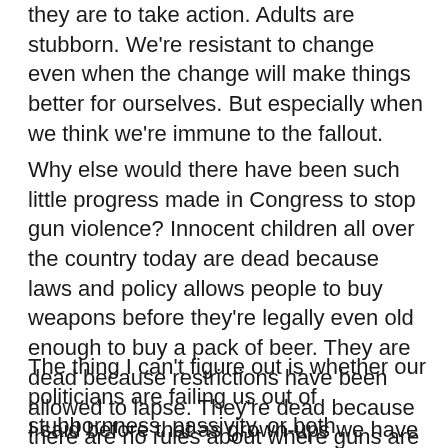they are to take action. Adults are stubborn. We're resistant to change even when the change will make things better for ourselves. But especially when we think we're immune to the fallout.
Why else would there have been such little progress made in Congress to stop gun violence? Innocent children all over the country today are dead because laws and policy allows people to buy weapons before they're legally even old enough to buy a pack of beer. They are dead because restrictions have been allowed to lapse. They're dead because there are no rules about where guns are kept. Because no one is paying attention to who is buying them.
The thing I can't figure out is whether our politicians are failing us out of stubbornness, passivity, or both.
I said before that as grown-ups we have a convenient habit of remembering the good and